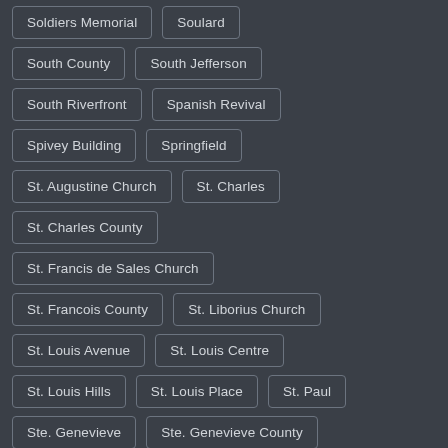Soldiers Memorial
Soulard
South County
South Jefferson
South Riverfront
Spanish Revival
Spivey Building
Springfield
St. Augustine Church
St. Charles
St. Charles County
St. Francis de Sales Church
St. Francois County
St. Liborius Church
St. Louis Avenue
St. Louis Centre
St. Louis Hills
St. Louis Place
St. Paul
Ste. Genevieve
Ste. Genevieve County
Storefronts
Streamline Moderne